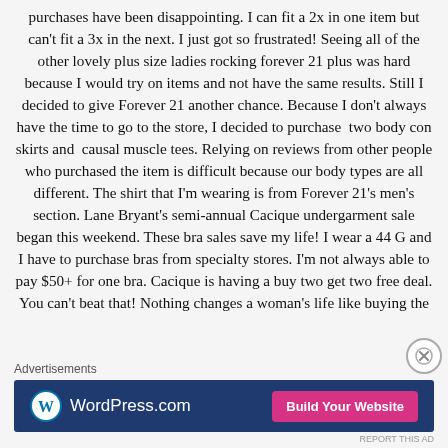purchases have been disappointing. I can fit a 2x in one item but can't fit a 3x in the next. I just got so frustrated! Seeing all of the other lovely plus size ladies rocking forever 21 plus was hard because I would try on items and not have the same results. Still I decided to give Forever 21 another chance. Because I don't always have the time to go to the store, I decided to purchase  two body con skirts and  causal muscle tees. Relying on reviews from other people who purchased the item is difficult because our body types are all different. The shirt that I'm wearing is from Forever 21's men's section. Lane Bryant's semi-annual Cacique undergarment sale began this weekend. These bra sales save my life! I wear a 44 G and I have to purchase bras from specialty stores. I'm not always able to pay $50+ for one bra. Cacique is having a buy two get two free deal. You can't beat that! Nothing changes a woman's life like buying the
[Figure (other): WordPress.com advertisement banner with blue background, WordPress logo on the left and 'Build Your Website' pink button on the right. Label 'Advertisements' appears above the banner.]